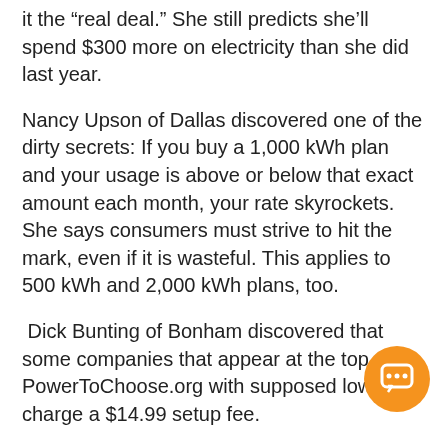it the “real deal.” She still predicts she’ll spend $300 more on electricity than she did last year.
Nancy Upson of Dallas discovered one of the dirty secrets: If you buy a 1,000 kWh plan and your usage is above or below that exact amount each month, your rate skyrockets. She says consumers must strive to hit the mark, even if it is wasteful. This applies to 500 kWh and 2,000 kWh plans, too.
Dick Bunting of Bonham discovered that some companies that appear at the top of PowerToChoose.org with supposed low rates charge a $14.99 setup fee.
“Wonder how many folks have been fooled by this,” he asks.
Pam King of Houston says to be wary of outside cons… Check their reviews and also electricity company reviews, too.
[Figure (other): Orange circular chat button icon in the bottom-right corner]